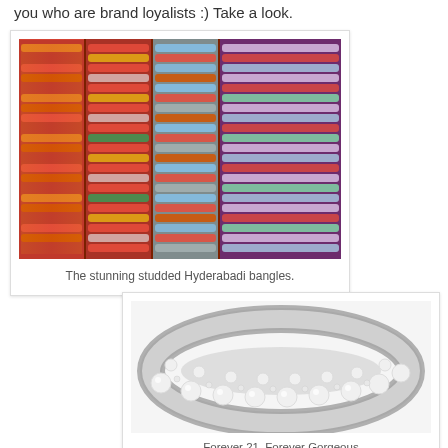you who are brand loyalists :) Take a look.
[Figure (photo): Colorful studded Hyderabadi bangles stacked in tall cylindrical columns — red, multicolor spiral, orange-red, teal/silver, and green-pink varieties displayed at a market stall.]
The stunning studded Hyderabadi bangles.
[Figure (photo): A silver bangle bracelet adorned with rows of white pearls and crystal/rhinestone embellishments on a white background.]
Forever 21, Forever Gorgeous